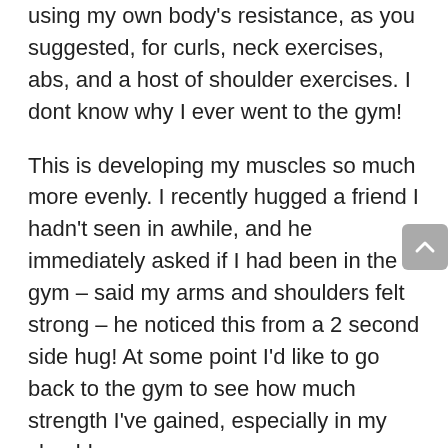using my own body's resistance, as you suggested, for curls, neck exercises, abs, and a host of shoulder exercises. I dont know why I ever went to the gym!
This is developing my muscles so much more evenly. I recently hugged a friend I hadn't seen in awhile, and he immediately asked if I had been in the gym – said my arms and shoulders felt strong – he noticed this from a 2 second side hug! At some point I'd like to go back to the gym to see how much strength I've gained, especially in my shoulders.
I also noticed the benefits of the LSE's when I went running this morning. We had awful weather for the past few weeks (a.k.a.) so that...